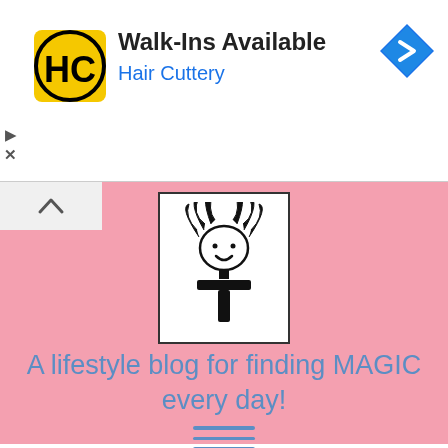[Figure (screenshot): Advertisement banner for Hair Cuttery showing HC logo, 'Walk-Ins Available' text, 'Hair Cuttery' in blue, and a blue navigation arrow icon on the right]
[Figure (logo): Blog logo showing a stick figure girl with pigtails and a T shape body, inside a white bordered box on pink background]
A lifestyle blog for finding MAGIC every day!
[Figure (other): Hamburger menu icon with three horizontal blue lines]